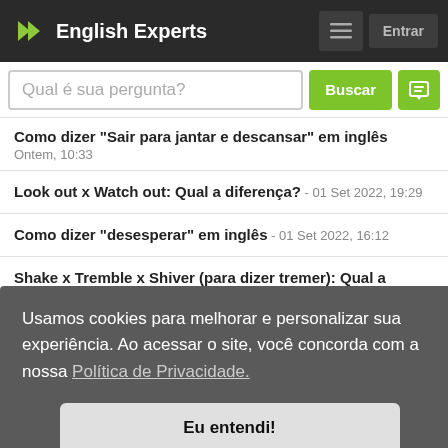English Experts
Qual é sua pergunta?
Como dizer 'Sair para jantar e descansar' em inglês - Ontem, 10:33
Look out x Watch out: Qual a diferença? - 01 Set 2022, 19:29
Como dizer "desesperar" em inglês - 01 Set 2022, 16:12
Shake x Tremble x Shiver (para dizer tremer): Qual a diferença? - 31 Ago 2022, 21:37
Usamos cookies para melhorar e personalizar sua experiência. Ao acessar o site, você concorda com a nossa Política de Privacidade.
Eu entendi!